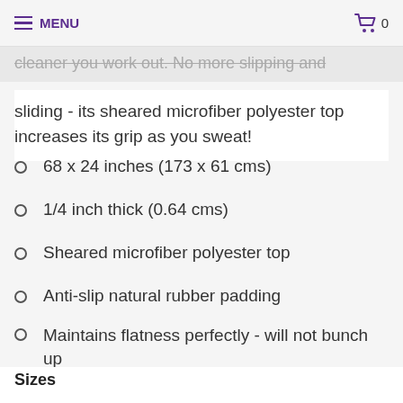MENU  0
sliding - its sheared microfiber polyester top increases its grip as you sweat!
68 x 24 inches (173 x 61 cms)
1/4 inch thick (0.64 cms)
Sheared microfiber polyester top
Anti-slip natural rubber padding
Maintains flatness perfectly - will not bunch up
Clean with soap and water
Sizes
68X24 INCH